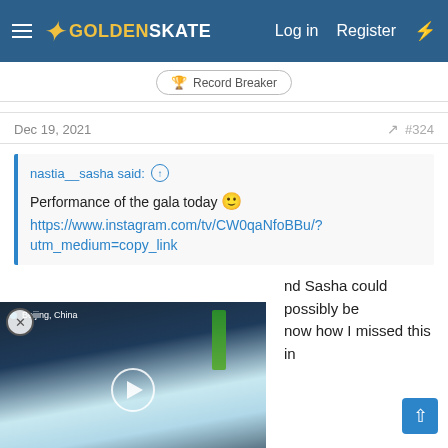GoldenSkate — Log in  Register
Record Breaker
Dec 19, 2021  #324
nastia__sasha said: ↑
Performance of the gala today 🙂
https://www.instagram.com/tv/CW0qaNfoBBu/?utm_medium=copy_link
[Figure (screenshot): Video thumbnail showing an ice rink in Beijing, China with a play button overlay]
nd Sasha could possibly be now how I missed this in
All the fun. I wish there were more of these moves in their FS. But I trust the team and I'm sure the FS develops even more as we speak.